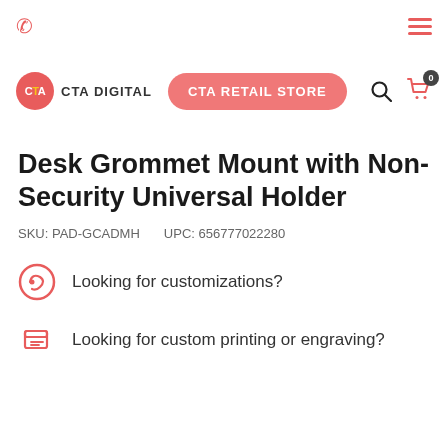phone icon | hamburger menu
[Figure (logo): CTA Digital logo with red circle and CTA text, followed by CTA DIGITAL wordmark]
CTA RETAIL STORE
Desk Grommet Mount with Non-Security Universal Holder
SKU: PAD-GCADMH    UPC: 656777022280
Looking for customizations?
Looking for custom printing or engraving?